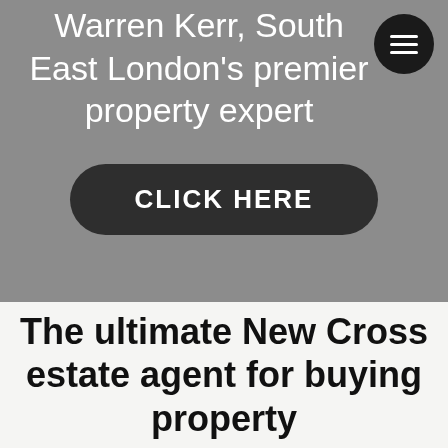Warren Kerr, South East London's premier property expert
[Figure (other): Dark rounded rectangle button with white bold uppercase text reading CLICK HERE]
The ultimate New Cross estate agent for buying property